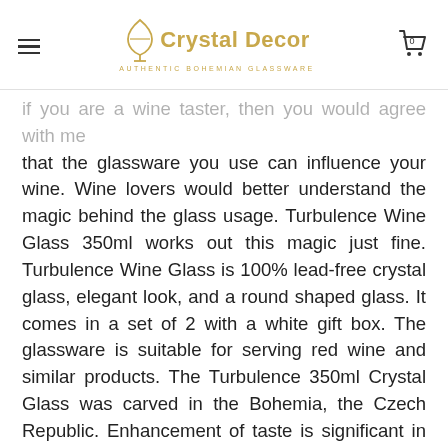Crystal Decor — AUTHENTIC BOHEMIAN GLASSWARE
If you are a wine taster, then you would agree with me that the glassware you use can influence your wine. Wine lovers would better understand the magic behind the glass usage. Turbulence Wine Glass 350ml works out this magic just fine. Turbulence Wine Glass is 100% lead-free crystal glass, elegant look, and a round shaped glass. It comes in a set of 2 with a white gift box. The glassware is suitable for serving red wine and similar products. The Turbulence 350ml Crystal Glass was carved in the Bohemia, the Czech Republic. Enhancement of taste is significant in wine tasting as the glass brings out all flavor in the wine in one taste. Crystalex came up with this particular collection especially for the wine lovers to have a good feel of the